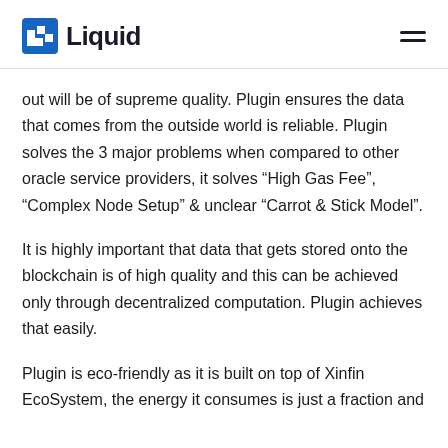Liquid
out will be of supreme quality. Plugin ensures the data that comes from the outside world is reliable. Plugin solves the 3 major problems when compared to other oracle service providers, it solves “High Gas Fee”, “Complex Node Setup” & unclear “Carrot & Stick Model”.
It is highly important that data that gets stored onto the blockchain is of high quality and this can be achieved only through decentralized computation. Plugin achieves that easily.
Plugin is eco-friendly as it is built on top of Xinfin EcoSystem, the energy it consumes is just a fraction and